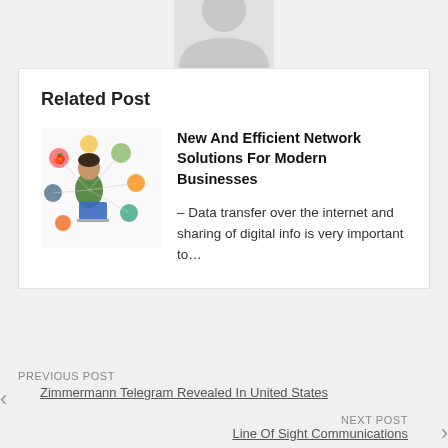[Figure (illustration): Gray avatar/profile silhouette image showing top portion of a person shape]
Related Post
[Figure (illustration): Colorful illustration of a person at a computer with food/network icons floating around]
New And Efficient Network Solutions For Modern Businesses
– Data transfer over the internet and sharing of digital info is very important to…
PREVIOUS POST
Zimmermann Telegram Revealed In United States
NEXT POST
Line Of Sight Communications